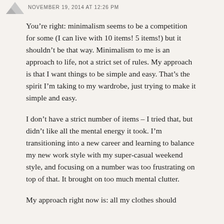NOVEMBER 19, 2014 AT 12:26 PM
You’re right: minimalism seems to be a competition for some (I can live with 10 items! 5 items!) but it shouldn’t be that way. Minimalism to me is an approach to life, not a strict set of rules. My approach is that I want things to be simple and easy. That’s the spirit I’m taking to my wardrobe, just trying to make it simple and easy.
I don’t have a strict number of items – I tried that, but didn’t like all the mental energy it took. I’m transitioning into a new career and learning to balance my new work style with my super-casual weekend style, and focusing on a number was too frustrating on top of that. It brought on too much mental clutter.
My approach right now is: all my clothes should